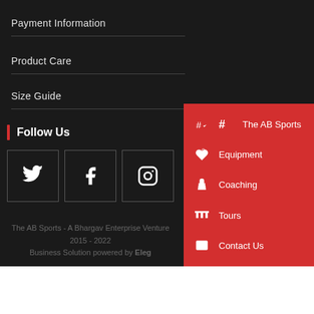Payment Information
Product Care
Size Guide
Follow Us
[Figure (other): Social media icons: Twitter, Facebook, Instagram]
The AB Sports
Equipment
Coaching
Tours
Contact Us
The AB Sports - A Bhargav Enterprise Venture 2015 - 2022
Business Solution powered by Eleg...